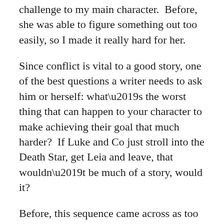challenge to my main character.  Before, she was able to figure something out too easily, so I made it really hard for her.
Since conflict is vital to a good story, one of the best questions a writer needs to ask him or herself: what’s the worst thing that can happen to your character to make achieving their goal that much harder?  If Luke and Co just stroll into the Death Star, get Leia and leave, that wouldn’t be much of a story, would it?
Before, this sequence came across as too easy for my heroine.  Now, she really has to pull herself out of a really deep hole.
And now the fun really begins.  I need to figure